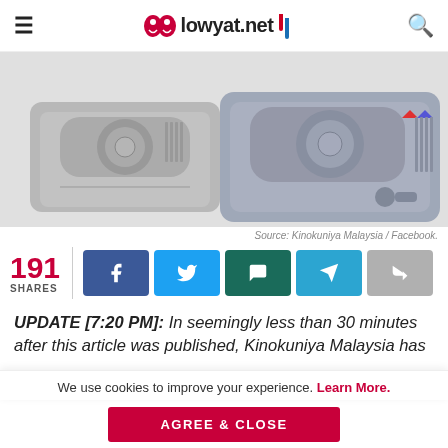lowyat.net
[Figure (photo): Two PlayStation Classic consoles side by side on a white background, showing the top view of the grey retro gaming consoles.]
Source: Kinokuniya Malaysia / Facebook.
191 SHARES
UPDATE [7:20 PM]: In seemingly less than 30 minutes after this article was published, Kinokuniya Malaysia has
We use cookies to improve your experience. Learn More.
AGREE & CLOSE